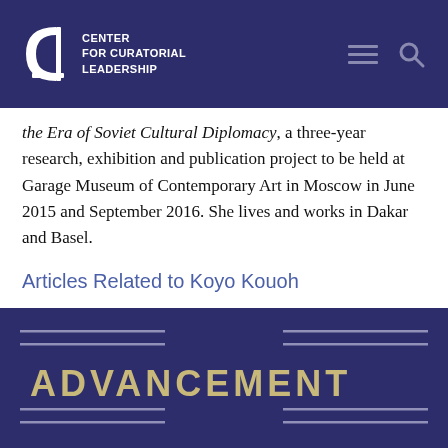CENTER FOR CURATORIAL LEADERSHIP
the Era of Soviet Cultural Diplomacy, a three-year research, exhibition and publication project to be held at Garage Museum of Contemporary Art in Moscow in June 2015 and September 2016. She lives and works in Dakar and Basel.
Articles Related to Koyo Kouoh
[Figure (other): Dark navy blue article card with decorative horizontal lines and the text ADVANCEMENT in gold/tan bold uppercase letters]